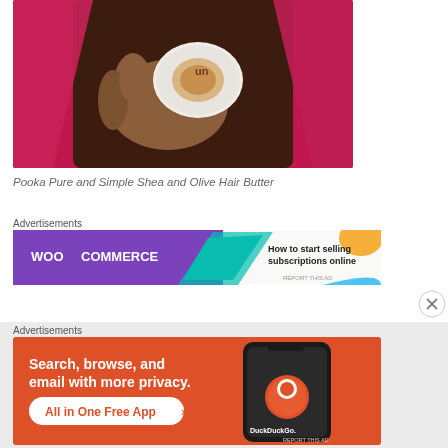[Figure (photo): A hand holding a small round container of hair butter product against a dark brown background with pink/magenta cloth]
Pooka Pure and Simple Shea and Olive Hair Butter
Advertisements
[Figure (screenshot): WooCommerce advertisement banner: purple background with WooCommerce logo and text 'How to start selling subscriptions online' with colorful shapes]
Advertisements
[Figure (screenshot): DuckDuckGo advertisement: orange background with text 'Search, browse, and email with more privacy. All in One Free App' with a smartphone mockup and DuckDuckGo logo]